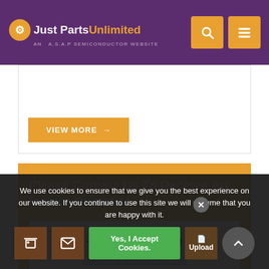Just Parts Unlimited - An A.S.A.P Semiconductor Website
VIEW MORE →
Please Contact Us To Receive An Instant Quotation
+1-714-705-4780
sales@justpartsunlimited.com
We use cookies to ensure that we give you the best experience on our website. If you continue to use this site we will assume that you are happy with it.
Yes, I Accept Cookies.
Upload